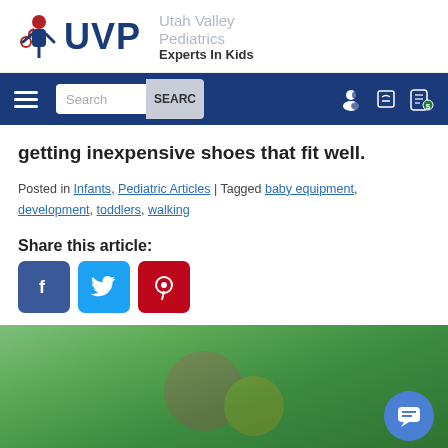Utah Valley Pediatrics — Experts In Kids
getting inexpensive shoes that fit well.
Posted in Infants, Pediatric Articles | Tagged baby equipment, development, toddlers, walking
Share this article:
[Figure (screenshot): Social share buttons: Facebook (blue), Twitter (light blue), Pinterest (red)]
[Figure (photo): Photo of a child's hands holding colorful knitted items outdoors with green background]